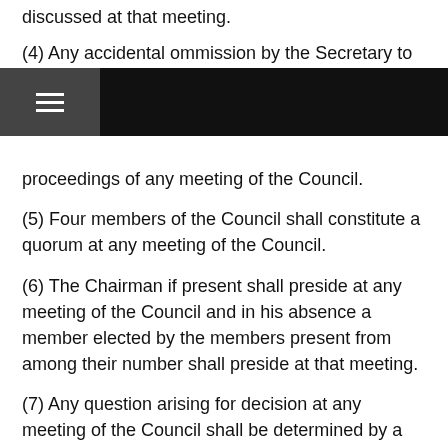discussed at that meeting.
(4) Any accidental ommission by the Secretary to send to
proceedings of any meeting of the Council.
(5) Four members of the Council shall constitute a quorum at any meeting of the Council.
(6) The Chairman if present shall preside at any meeting of the Council and in his absence a member elected by the members present from among their number shall preside at that meeting.
(7) Any question arising for decision at any meeting of the Council shall be determined by a simple majority of the members present and voting and where there is an equality of votes the person presiding shall have a second or casting vote.
(8) The Council members...